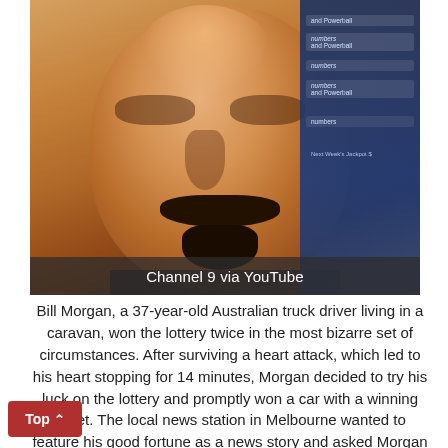[Figure (photo): Close-up photo of a middle-aged man with a dark mustache and goatee, looking downward. Behind him is a blue lottery/gaming sign panel on the right side. Photo credit: Channel 9 via YouTube.]
Channel 9 via YouTube
Bill Morgan, a 37-year-old Australian truck driver living in a caravan, won the lottery twice in the most bizarre set of circumstances. After surviving a heart attack, which led to his heart stopping for 14 minutes, Morgan decided to try his luck on the lottery and promptly won a car with a winning ticket. The local news station in Melbourne wanted to feature his good fortune as a news story and asked Morgan to return to the store where he bought his winning ticket, to re-enact the buy and scratching of his ticket. Lo